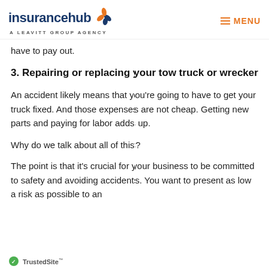insurancehub | A LEAVITT GROUP AGENCY | MENU
have to pay out.
3. Repairing or replacing your tow truck or wrecker
An accident likely means that you’re going to have to get your truck fixed. And those expenses are not cheap. Getting new parts and paying for labor adds up.
Why do we talk about all of this?
The point is that it’s crucial for your business to be committed to safety and avoiding accidents. You want to present as low a risk as possible to an
TrustedSite